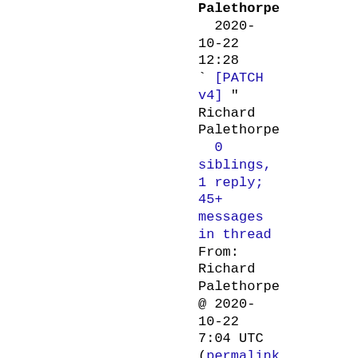Palethorpe 2020-10-22 12:28 ` [PATCH v4] " Richard Palethorpe 0 siblings, 1 reply; 45+ messages in thread From: Richard Palethorpe @ 2020-10-22 7:04 UTC (permalink / raw) To: Michal Koutný Cc: Shakeel Butt, Linux MM, LKML, LTP List